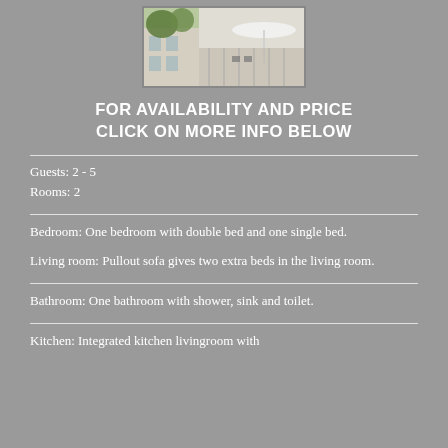[Figure (photo): Exterior photo of a building/apartment with trees and a white umbrella/awning visible]
FOR AVAILABILITY AND PRICE CLICK ON MORE INFO BELOW
Guests: 2 - 5
Rooms: 2
Bedroom: One bedroom with double bed and one single bed.
Living room: Pullout sofa gives two extra beds in the living room.
Bathroom: One bathroom with shower, sink and toilet.
Kitchen: Integrated kitchen livingroom with